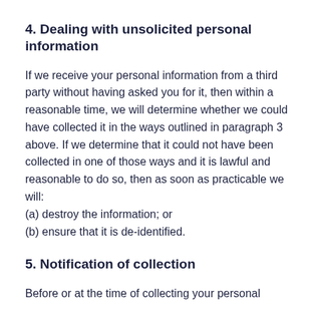4. Dealing with unsolicited personal information
If we receive your personal information from a third party without having asked you for it, then within a reasonable time, we will determine whether we could have collected it in the ways outlined in paragraph 3 above. If we determine that it could not have been collected in one of those ways and it is lawful and reasonable to do so, then as soon as practicable we will:
(a) destroy the information; or
(b) ensure that it is de-identified.
5. Notification of collection
Before or at the time of collecting your personal